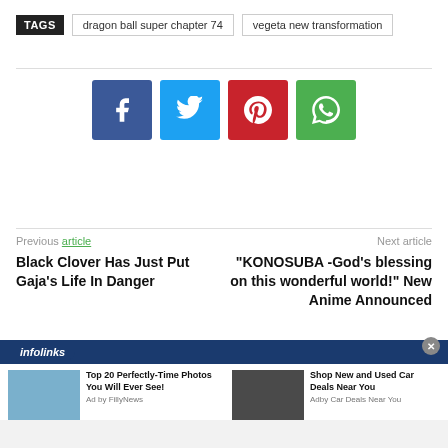TAGS   dragon ball super chapter 74   vegeta new transformation
[Figure (infographic): Social share buttons: Facebook (blue), Twitter (light blue), Pinterest (red), WhatsApp (green)]
Previous article
Black Clover Has Just Put Gaja’s Life In Danger
Next article
“KONOSUBA -God’s blessing on this wonderful world!” New Anime Announced
[Figure (infographic): Infolinks ad bar with two ad cards: 'Top 20 Perfectly-Time Photos You Will Ever See!' (Ad by FillyNews) and 'Shop New and Used Car Deals Near You' (Adby Car Deals Near You)]